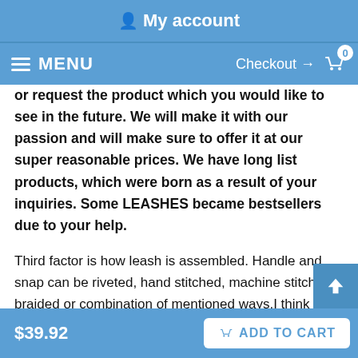My account
MENU  Checkout → 0
or request the product which you would like to see in the future. We will make it with our passion and will make sure to offer it at our super reasonable prices. We have long list products, which were born as a result of your inquiries. Some LEASHES became bestsellers due to your help.
Third factor is how leash is assembled. Handle and snap can be riveted, hand stitched, machine stitched, braided or combination of mentioned ways.I think less stress points there are stronger this leash will be. I prefer braiding without additional rivet. However any other way when properly done .Can be strong enough. And of course depending on the dogs size and your task – walking, tracking, training, agitation, tie out etc. you should consider design.You are welcome to contact us so we can he
$39.92  ADD TO CART